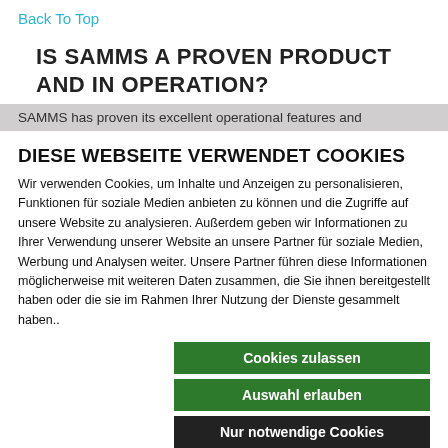Back To Top
IS SAMMS A PROVEN PRODUCT AND IN OPERATION?
SAMMS has proven its excellent operational features and
DIESE WEBSEITE VERWENDET COOKIES
Wir verwenden Cookies, um Inhalte und Anzeigen zu personalisieren, Funktionen für soziale Medien anbieten zu können und die Zugriffe auf unsere Website zu analysieren. Außerdem geben wir Informationen zu Ihrer Verwendung unserer Website an unsere Partner für soziale Medien, Werbung und Analysen weiter. Unsere Partner führen diese Informationen möglicherweise mit weiteren Daten zusammen, die Sie ihnen bereitgestellt haben oder die sie im Rahmen Ihrer Nutzung der Dienste gesammelt haben..
Cookies zulassen
Auswahl erlauben
Nur notwendige Cookies
Notwendig  Präferenzen  Statistiken  Marketing  Details zeigen